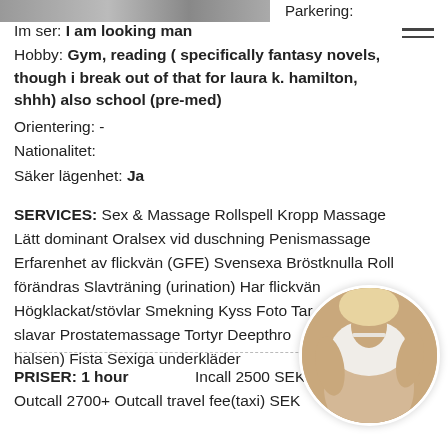[Figure (photo): Partial top image strip showing a person, cropped]
Parkering:
Im ser: I am looking man
Hobby: Gym, reading ( specifically fantasy novels, though i break out of that for laura k. hamilton, shhh) also school (pre-med)
Orientering: -
Nationalitet:
Säker lägenhet: Ja
SERVICES: Sex & Massage Rollspell Kropp Massage Lätt dominant Oralsex vid duschning Penismassage Erfarenhet av flickvän (GFE) Svensexa Bröstknulla Roll förändras Slavträning (urination) Har flickvän Högklackat/stövlar Smekning Kyss Foto Tar slavar Prostatemassage Tortyr Deepthro halsen) Fista Sexiga underkläder
PRISER: 1 hour    Incall 2500 SEK
Outcall 2700+ Outcall travel fee(taxi) SEK
[Figure (photo): Circular cropped photo of a woman in white top]